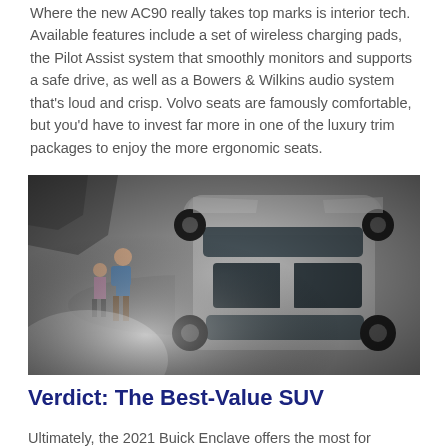Where the new AC90 really takes top marks is interior tech. Available features include a set of wireless charging pads, the Pilot Assist system that smoothly monitors and supports a safe drive, as well as a Bowers & Wilkins audio system that's loud and crisp. Volvo seats are famously comfortable, but you'd have to invest far more in one of the luxury trim packages to enjoy the more ergonomic seats.
[Figure (photo): Aerial view of a silver Buick Enclave SUV with panoramic sunroof, seen from above. Two people (a child and an adult) walk alongside the vehicle on a paved surface.]
Verdict: The Best-Value SUV
Ultimately, the 2021 Buick Enclave offers the most for